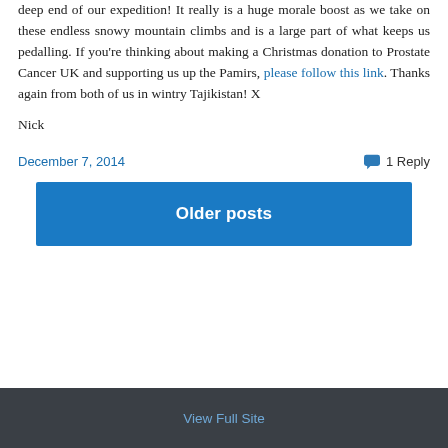deep end of our expedition! It really is a huge morale boost as we take on these endless snowy mountain climbs and is a large part of what keeps us pedalling. If you're thinking about making a Christmas donation to Prostate Cancer UK and supporting us up the Pamirs, please follow this link. Thanks again from both of us in wintry Tajikistan! X
Nick
December 7, 2014
1 Reply
Older posts
View Full Site